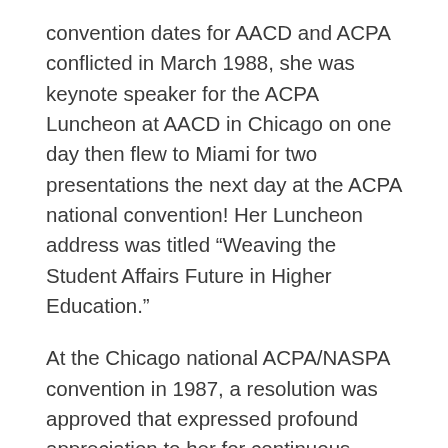convention dates for AACD and ACPA conflicted in March 1988, she was keynote speaker for the ACPA Luncheon at AACD in Chicago on one day then flew to Miami for two presentations the next day at the ACPA national convention! Her Luncheon address was titled “Weaving the Student Affairs Future in Higher Education.”
At the Chicago national ACPA/NASPA convention in 1987, a resolution was approved that expressed profound appreciation to her for continuous dedication to ACPA and her colleagues. Phyllis Mable has received many ACPA honors: Outstanding Commission Service Award (1972), selected as one of the Senior Professionals to host the annual Annuit Coeptis dinner for emerging professionals (1981), Professional Service Award (1983), Senior Scholar Award (1987-92), and the ACPA Lifetime